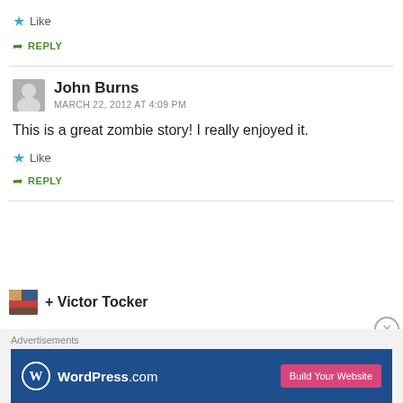★ Like
➦ REPLY
John Burns
MARCH 22, 2012 AT 4:09 PM
This is a great zombie story! I really enjoyed it.
★ Like
➦ REPLY
+ Victor Tocker
Advertisements
[Figure (logo): WordPress.com advertisement banner with 'Build Your Website' button]